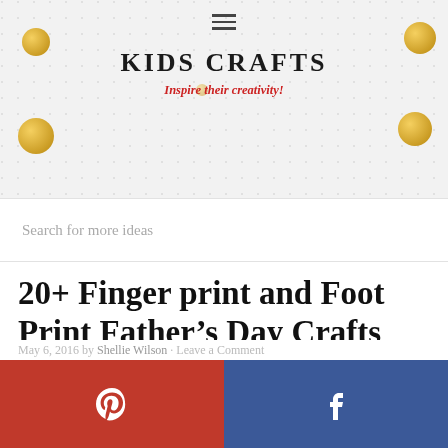KIDS CRAFTS — Inspire their creativity!
Search for more ideas
20+ Finger print and Foot Print Father's Day Crafts The Kids Can Make
May 6, 2016 by Shellie Wilson · Leave a Comment
[Figure (other): Pinterest and Facebook social share bar at bottom of page]